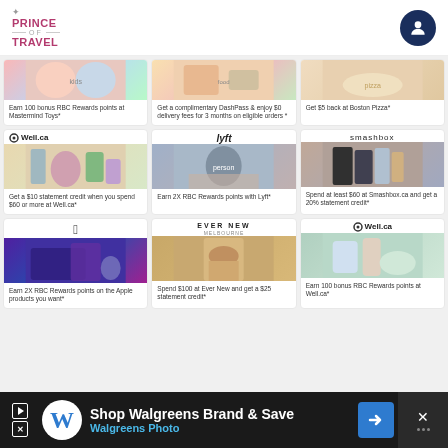Prince of Travel
[Figure (screenshot): Grid of promotional offer cards from RBC Rewards. Row 1 (partially cropped): Mastermind Toys kids photo, DashPass food photo, Boston Pizza photo. Row 2: Well.ca, Lyft, Smashbox offers with brand logos and product images. Row 3: Apple, Ever New, Well.ca offers.]
Earn 100 bonus RBC Rewards points at Mastermind Toys*
Get a complimentary DashPass & enjoy $0 delivery fees for 3 months on eligible orders *
Get $5 back at Boston Pizza*
Get a $10 statement credit when you spend $60 or more at Well.ca*
Earn 2X RBC Rewards points with Lyft*
Spend at least $60 at Smashbox.ca and get a 20% statement credit*
Earn 2X RBC Rewards points on the Apple products you want*
Spend $100 at Ever New and get a $25 statement credit*
Earn 100 bonus RBC Rewards points at Well.ca*
Shop Walgreens Brand & Save — Walgreens Photo